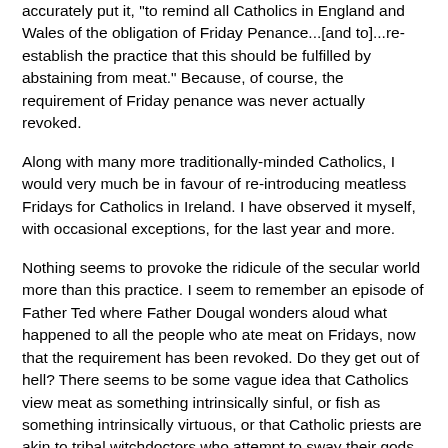accurately put it, "to remind all Catholics in England and Wales of the obligation of Friday Penance...[and to]...re-establish the practice that this should be fulfilled by abstaining from meat." Because, of course, the requirement of Friday penance was never actually revoked.
Along with many more traditionally-minded Catholics, I would very much be in favour of re-introducing meatless Fridays for Catholics in Ireland. I have observed it myself, with occasional exceptions, for the last year and more.
Nothing seems to provoke the ridicule of the secular world more than this practice. I seem to remember an episode of Father Ted where Father Dougal wonders aloud what happened to all the people who ate meat on Fridays, now that the requirement has been revoked. Do they get out of hell? There seems to be some vague idea that Catholics view meat as something intrinsically sinful, or fish as something intrinsically virtuous, or that Catholic priests are akin to tribal witchdoctors who attempt to sway their gods with various arbtirary chants or dances or rites.